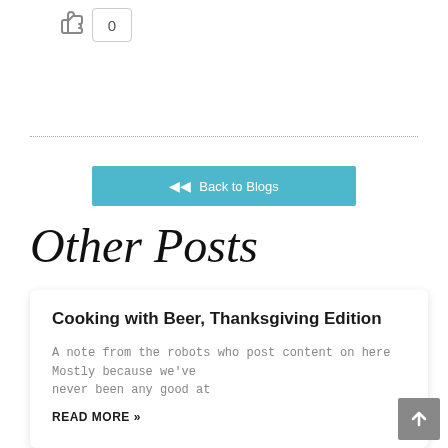[Figure (other): Thumbs up like icon with count box showing 0]
[Figure (other): Dotted horizontal divider line]
[Figure (other): Teal/cyan button with back arrows and text Back to Blogs]
Other Posts
Cooking with Beer, Thanksgiving Edition
A note from the robots who post content on here Mostly because we've never been any good at
READ MORE »